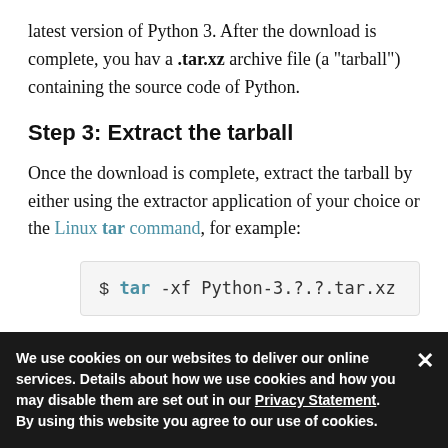latest version of Python 3. After the download is complete, you hav a .tar.xz archive file (a "tarball") containing the source code of Python.
Step 3: Extract the tarball
Once the download is complete, extract the tarball by either using the extractor application of your choice or the Linux tar command, for example:
[Figure (screenshot): Code block showing: $ tar -xf Python-3.?.?.tar.xz]
Step 4: Configure the script
Once the Pythor
We use cookies on our websites to deliver our online services. Details about how we use cookies and how you may disable them are set out in our Privacy Statement. By using this website you agree to our use of cookies.